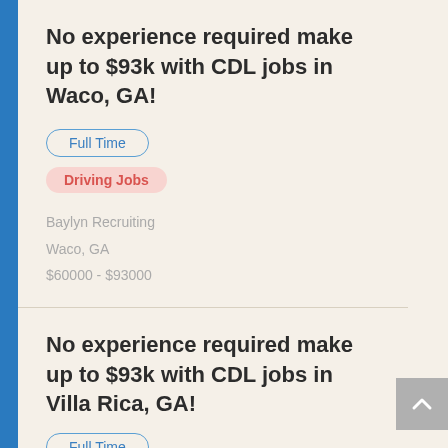No experience required make up to $93k with CDL jobs in Waco, GA!
Full Time
Driving Jobs
Baylyn Recruiting
Waco, GA
$60000 - $93000
No experience required make up to $93k with CDL jobs in Villa Rica, GA!
Full Time